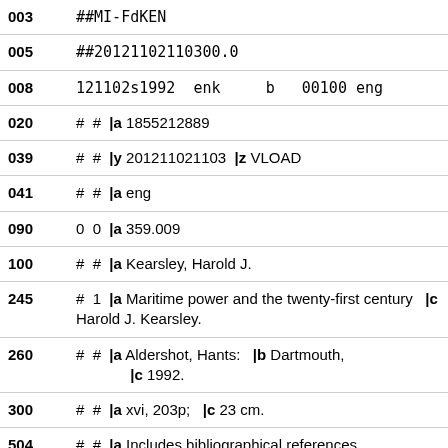| Tag | Content |
| --- | --- |
| 003 | ##MI-FdKEN |
| 005 | ##20121102110300.0 |
| 008 | 121102s1992  enk     b   00100 eng |
| 020 | #  #  |a 1855212889 |
| 039 | #  #  |y 201211021103  |z VLOAD |
| 041 | #  #  |a eng |
| 090 | 0  0  |a 359.009 |
| 100 | #  #  |a Kearsley, Harold J. |
| 245 | #  1  |a Maritime power and the twenty-first century   |c Harold J. Kearsley. |
| 260 | #  #  |a Aldershot, Hants:   |b Dartmouth,  |c 1992. |
| 300 | #  #  |a xvi, 203p;   |c 23 cm. |
| 504 | #  #  |a Includes bibliographical references |